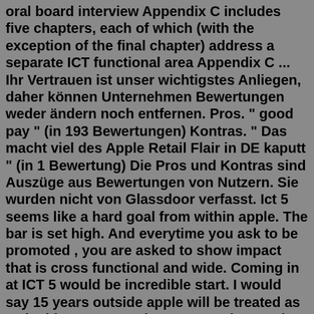oral board interview Appendix C includes five chapters, each of which (with the exception of the final chapter) address a separate ICT functional area Appendix C ... Ihr Vertrauen ist unser wichtigstes Anliegen, daher können Unternehmen Bewertungen weder ändern noch entfernen. Pros. " good pay " (in 193 Bewertungen) Kontras. " Das macht viel des Apple Retail Flair in DE kaputt " (in 1 Bewertung) Die Pros und Kontras sind Auszüge aus Bewertungen von Nutzern. Sie wurden nicht von Glassdoor verfasst. Ict 5 seems like a hard goal from within apple. The bar is set high. And everytime you ask to be promoted , you are asked to show impact that is cross functional and wide. Coming in at ICT 5 would be incredible start. I would say 15 years outside apple will be treated as 10 inside. Just a random guess, please take it with pinch of salt.Apple ICT5 Offer New MFSh17 Sep 8, 2018 33 Comments I have a verbal offer from Apple for 230k salary, 630k RSU over four years and 100k sign on bonus. It is ICT5. This is for 16 YOE. Is it a good offer or is it worth